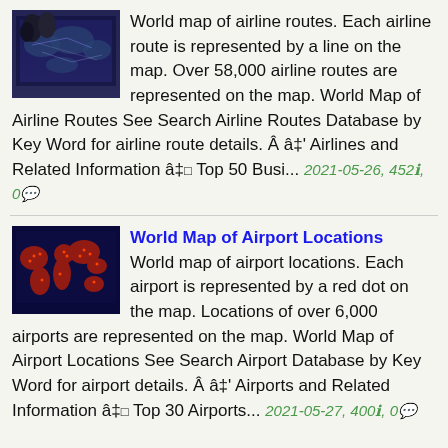[Figure (photo): Thumbnail image of world map with airline routes, dark blue tones]
World map of airline routes. Each airline route is represented by a line on the map. Over 58,000 airline routes are represented on the map. World Map of Airline Routes See Search Airline Routes Database by Key Word for airline route details. Â â‡' Airlines and Related Information â‡ Top 50 Busi... 2021-05-26, 452ℹ, 0💬
[Figure (photo): Thumbnail image of world map with airport locations shown as red dots on dark background]
World Map of Airport Locations
World map of airport locations. Each airport is represented by a red dot on the map. Locations of over 6,000 airports are represented on the map. World Map of Airport Locations See Search Airport Database by Key Word for airport details. Â â‡' Airports and Related Information â‡ Top 30 Airports... 2021-05-27, 400ℹ, 0💬